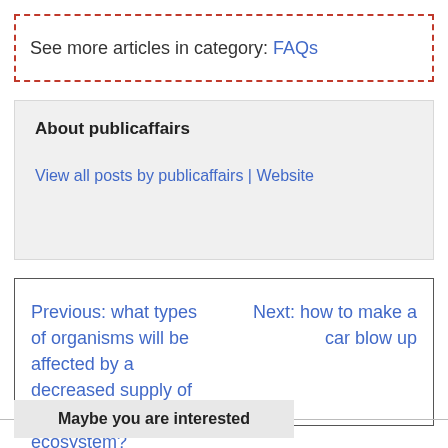See more articles in category: FAQs
About publicaffairs
View all posts by publicaffairs | Website
Previous: what types of organisms will be affected by a decreased supply of water in an ecosystem?
Next: how to make a car blow up
Maybe you are interested